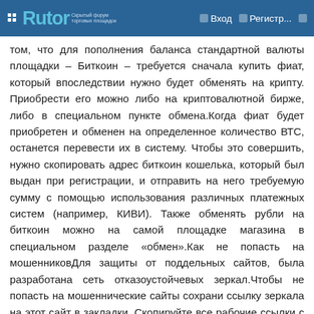Rutor — Вход — Регистр...
том, что для пополнения баланса стандартной валюты площадки – Биткоин – требуется сначала купить фиат, который впоследствии нужно будет обменять на крипту. Приобрести его можно либо на криптовалютной бирже, либо в специальном пункте обмена.Когда фиат будет приобретен и обменен на определенное количество ВТС, останется перевести их в систему. Чтобы это совершить, нужно скопировать адрес биткоин кошелька, который был выдан при регистрации, и отправить на него требуемую сумму с помощью использования различных платежных систем (например, КИВИ). Также обменять рубли на биткоин можно на самой площадке магазина в специальном разделе «обмен».Как не попасть на мошенниковДля защиты от поддельных сайтов, была разработана сеть отказоустойчевых зеркал.Чтобы не попасть на мошеннические сайты сохрани ссылку зеркала на этот сайт в закладки. Скопируйте все рабочие ссылки с этого сайта к себе на компьютер так как Роскомнадзор может заблокировать сайт.
Read moreПредыдущая страница: ссылка на